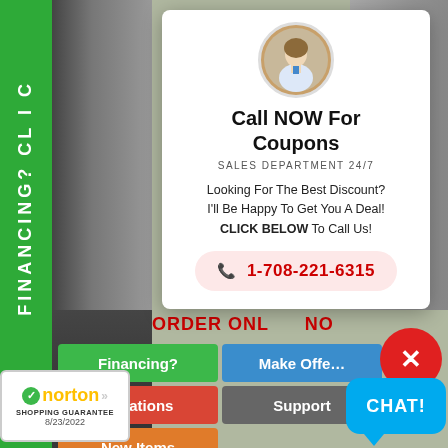FINANCING? CLICK
[Figure (photo): Popup modal with sales agent avatar, call to action for coupons, phone number 1-708-221-6315]
Call NOW For Coupons
SALES DEPARTMENT 24/7
Looking For The Best Discount? I'll Be Happy To Get You A Deal! CLICK BELOW To Call Us!
1-708-221-6315
ORDER ONLINE NOW
Financing?
Make Offer
Locations
Support
New Items
[Figure (logo): Norton Shopping Guarantee badge dated 8/23/2022]